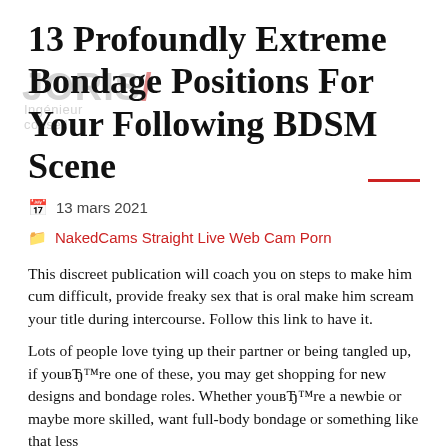13 Profoundly Extreme Bondage Positions For Your Following BDSM Scene
13 mars 2021
NakedCams Straight Live Web Cam Porn
This discreet publication will coach you on steps to make him cum difficult, provide freaky sex that is oral make him scream your title during intercourse. Follow this link to have it.
Lots of people love tying up their partner or being tangled up, if youвЂ™re one of these, you may get shopping for new designs and bondage roles. Whether youвЂ™re a newbie or maybe more skilled, want full-body bondage or something like that less